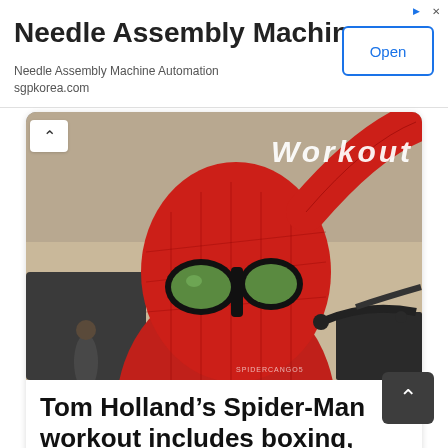[Figure (infographic): Advertisement banner for Needle Assembly Machine with Open button]
Needle Assembly Machine
Needle Assembly Machine Automation
sgpkorea.com
[Figure (photo): Spider-Man (Tom Holland) in costume on outdoor set, with 'Workout' text overlay]
Tom Holland’s Spider-Man workout includes boxing, parkour, climbing and gymnastics
May 8th, 2018